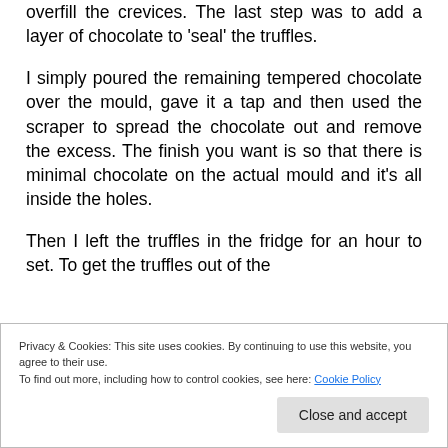overfill the crevices. The last step was to add a layer of chocolate to 'seal' the truffles.
I simply poured the remaining tempered chocolate over the mould, gave it a tap and then used the scraper to spread the chocolate out and remove the excess. The finish you want is so that there is minimal chocolate on the actual mould and it's all inside the holes.
Then I left the truffles in the fridge for an hour to set. To get the truffles out of the
Privacy & Cookies: This site uses cookies. By continuing to use this website, you agree to their use.
To find out more, including how to control cookies, see here: Cookie Policy
Close and accept